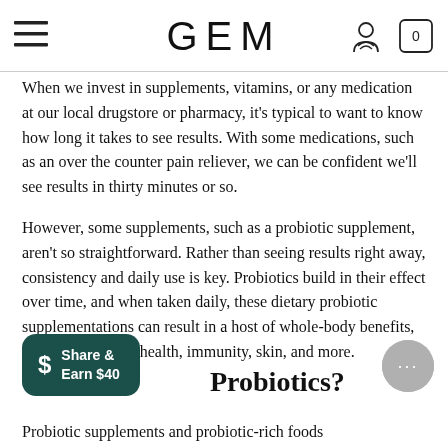GEM
When we invest in supplements, vitamins, or any medication at our local drugstore or pharmacy, it's typical to want to know how long it takes to see results. With some medications, such as an over the counter pain reliever, we can be confident we'll see results in thirty minutes or so.
However, some supplements, such as a probiotic supplement, aren't so straightforward. Rather than seeing results right away, consistency and daily use is key. Probiotics build in their effect over time, and when taken daily, these dietary probiotic supplementations can result in a host of whole-body benefits, ranging from gut -health, immunity, skin, and more.
Probiotics?
Probiotic supplements and probiotic-rich foods